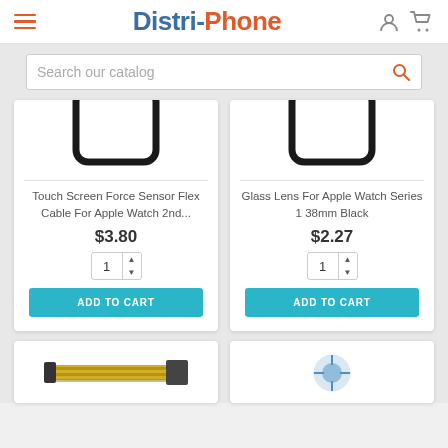Distri-Phone
Search our catalog
Touch Screen Force Sensor Flex Cable For Apple Watch 2nd... $3.80
Glass Lens For Apple Watch Series 1 38mm Black $2.27
[Figure (screenshot): Bottom partial product images row]